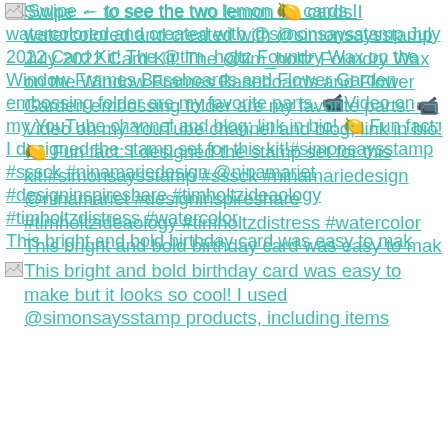Swipe ← to see the two lemon 🍋 cards I watercolored and created with @simonsaysstamp July 2022 Card Kit! The @tim_holtz Foundry Wax on the Window Frames Baseboards and Flower Garden embossing folder are my favorite parts. 📹Video on my YouTube channel and blog; link in bio! 🍋 Fun fact: I designed the stamp set for this kit!#simonsaysstamp #sssck #ninamariedesign @ninamariet #designinspireshare #timholtzideaology #timholtzdistress #watercolor This bright and bold birthday card was easy to mak
This bright and bold birthday card was easy to make but it looks so cool! I used @simonsaysstamp products, including items